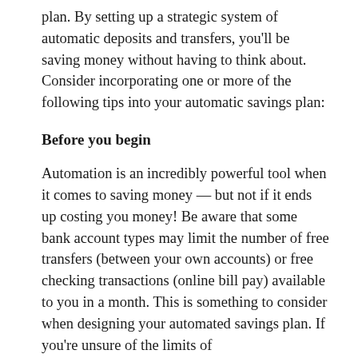plan. By setting up a strategic system of automatic deposits and transfers, you'll be saving money without having to think about. Consider incorporating one or more of the following tips into your automatic savings plan:
Before you begin
Automation is an incredibly powerful tool when it comes to saving money — but not if it ends up costing you money! Be aware that some bank account types may limit the number of free transfers (between your own accounts) or free checking transactions (online bill pay) available to you in a month. This is something to consider when designing your automated savings plan. If you're unsure of the limits of